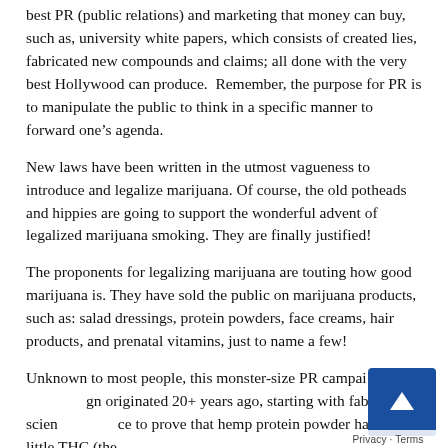best PR (public relations) and marketing that money can buy, such as, university white papers, which consists of created lies, fabricated new compounds and claims; all done with the very best Hollywood can produce.  Remember, the purpose for PR is to manipulate the public to think in a specific manner to forward one’s agenda.
New laws have been written in the utmost vagueness to introduce and legalize marijuana. Of course, the old potheads and hippies are going to support the wonderful advent of legalized marijuana smoking. They are finally justified!
The proponents for legalizing marijuana are touting how good marijuana is. They have sold the public on marijuana products, such as: salad dressings, protein powders, face creams, hair products, and prenatal vitamins, just to name a few!
Unknown to most people, this monster-size PR campaign originated 20+ years ago, starting with fabricated science to prove that hemp protein powder has very little THC (the